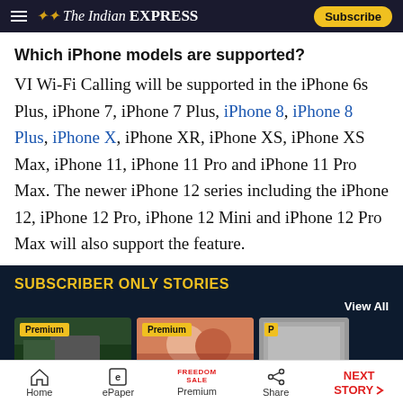The Indian EXPRESS — Subscribe
Which iPhone models are supported?
VI Wi-Fi Calling will be supported in the iPhone 6s Plus, iPhone 7, iPhone 7 Plus, iPhone 8, iPhone 8 Plus, iPhone X, iPhone XR, iPhone XS, iPhone XS Max, iPhone 11, iPhone 11 Pro and iPhone 11 Pro Max. The newer iPhone 12 series including the iPhone 12, iPhone 12 Pro, iPhone 12 Mini and iPhone 12 Pro Max will also support the feature.
SUBSCRIBER ONLY STORIES
[Figure (screenshot): Subscriber Only Stories section with three Premium article thumbnails and View All link]
Home | ePaper | Premium (Freedom Sale) | Share | NEXT STORY